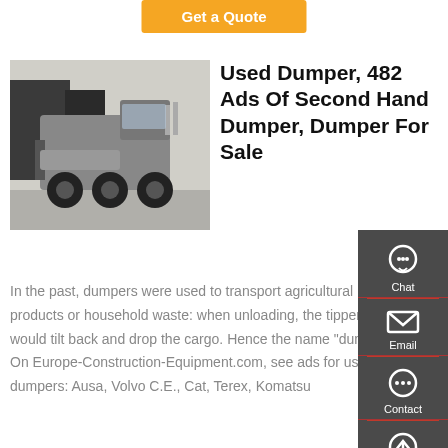[Figure (other): Orange Get a Quote button]
[Figure (photo): Photo of a used truck/dumper viewed from rear, parked in lot with industrial background]
Used Dumper, 482 Ads Of Second Hand Dumper, Dumper For Sale
In the past, dumpers were used to transport agricultural products or household waste: when unloading, the tipper would tilt back and drop the cargo. Hence the name "dumper". On Europe-Construction-Equipment.com, see ads for used dumpers: Ausa, Volvo C.E., Cat, Terex, Komatsu
[Figure (infographic): Sidebar panel with Chat, Email, Contact, Top icons on dark grey background]